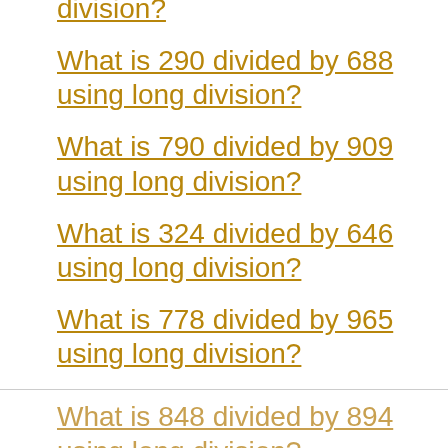What is 290 divided by 688 using long division?
What is 790 divided by 909 using long division?
What is 324 divided by 646 using long division?
What is 778 divided by 965 using long division?
What is 848 divided by 894 using long division?